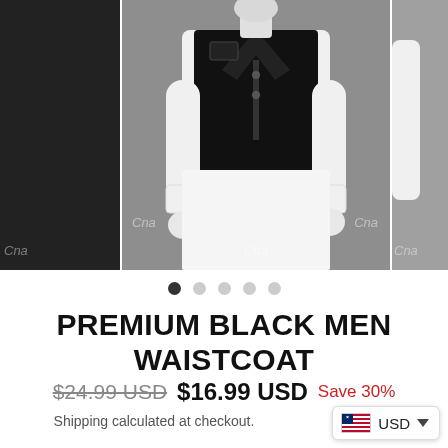[Figure (photo): Product image strip showing a black men's waistcoat on a mannequin. Left panel is dark/black fabric detail, center panel shows full mannequin wearing black waistcoat over white shirt with white dhoti, right panel partially visible. Watermark 'Cna' visible in multiple panels.]
● ○ ○ ○ ○ (carousel dots)
PREMIUM BLACK MEN WAISTCOAT
$24.99 USD  $16.99 USD  Save 30%
Shipping calculated at checkout.